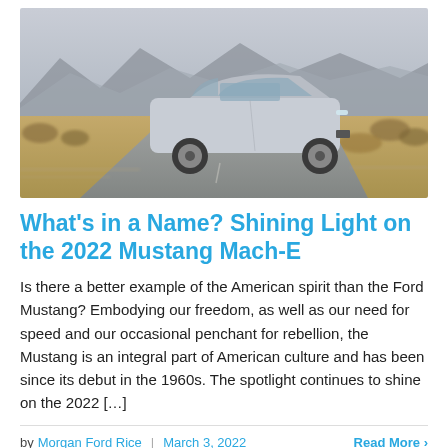[Figure (photo): Silver Ford Mustang Mach-E electric SUV driving on a desert road with mountains in the background, motion blur on surroundings]
What's in a Name? Shining Light on the 2022 Mustang Mach-E
Is there a better example of the American spirit than the Ford Mustang? Embodying our freedom, as well as our need for speed and our occasional penchant for rebellion, the Mustang is an integral part of American culture and has been since its debut in the 1960s. The spotlight continues to shine on the 2022 […]
by Morgan Ford Rice | March 3, 2022   Read More >